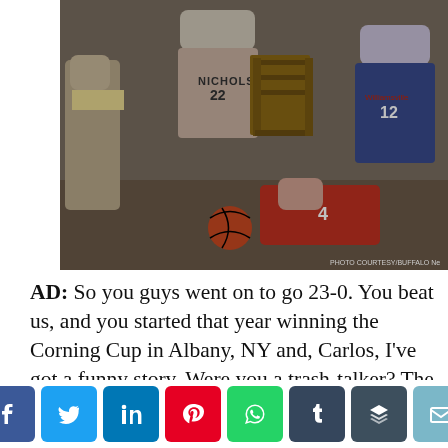[Figure (photo): Black and white newspaper photograph of basketball players in a scramble on the court. Players wearing jerseys including 'NICHOLS' (number 22) and 'Williamsville' (number 12) and number 4. A wooden chair is visible in the scene.]
AD: So you guys went on to go 23-0. You beat us, and you started that year winning the Corning Cup in Albany, NY and, Carlos, I've got a funny story. Were you a trash-talker? The